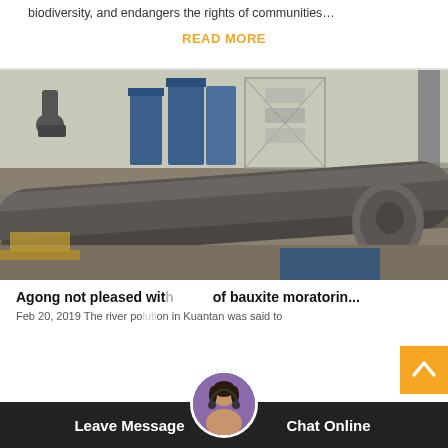biodiversity, and endangers the rights of communities…
READ MORE
[Figure (photo): Industrial facility with large rotary kiln in foreground and blue silos/metal structure in background, outdoors in a flat landscape.]
Agong not pleased with of bauxite moratorin...
Feb 20, 2019 The river pollution in Kuantan was said to
Leave Message
Chat Online